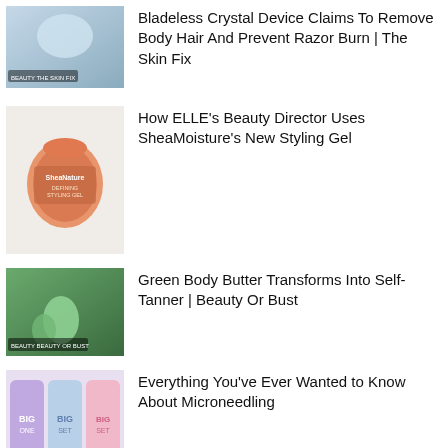[Figure (photo): Thumbnail image for article about bladeless crystal device, The Skin Fix label]
Bladeless Crystal Device Claims To Remove Body Hair And Prevent Razor Burn | The Skin Fix
[Figure (photo): Product image of SheaMoisture Defining Styling Gel in orange container]
How ELLE's Beauty Director Uses SheaMoisture's New Styling Gel
[Figure (photo): Thumbnail for Beauty Or Bust article showing green body butter product]
Green Body Butter Transforms Into Self-Tanner | Beauty Or Bust
[Figure (photo): Thumbnail showing colorful Big Set product packages in pink, blue, and purple]
Everything You've Ever Wanted to Know About Microneedling